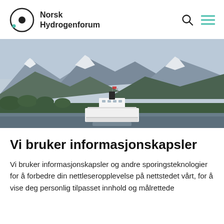Norsk Hydrogenforum
[Figure (photo): Panoramic photo of Norwegian fjord landscape with snow-capped mountains, green forest, and a white ferry/ship in the foreground]
Vi bruker informasjonskapsler
Vi bruker informasjonskapsler og andre sporingsteknologier for å forbedre din nettleseropplevelse på nettstedet vårt, for å vise deg personlig tilpasset innhold og målrettede annonser, for å analysere nettstedstrafikken vår og